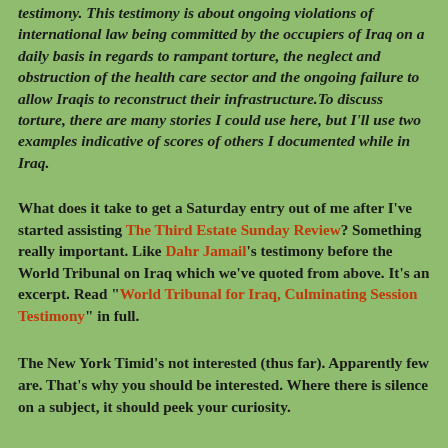testimony. This testimony is about ongoing violations of international law being committed by the occupiers of Iraq on a daily basis in regards to rampant torture, the neglect and obstruction of the health care sector and the ongoing failure to allow Iraqis to reconstruct their infrastructure.To discuss torture, there are many stories I could use here, but I'll use two examples indicative of scores of others I documented while in Iraq.
What does it take to get a Saturday entry out of me after I've started assisting The Third Estate Sunday Review? Something really important. Like Dahr Jamail's testimony before the World Tribunal on Iraq which we've quoted from above. It's an excerpt. Read "World Tribunal for Iraq, Culminating Session Testimony" in full.
The New York Timid's not interested (thus far). Apparently few are. That's why you should be interested. Where there is silence on a subject, it should peek your curiosity.
The World Tribunal on Iraq doesn't appear to merit much commentary in this country (US, to clarify for our foreign